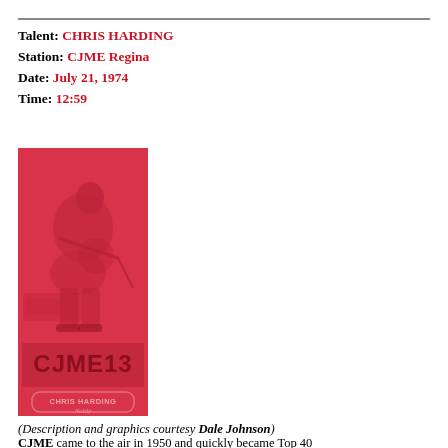Talent: CHRIS HARDING
Station: CJME Regina
Date: July 21, 1974
Time: 12:59
[Figure (illustration): Pink/red promotional card for CJME13 radio station featuring an illustrated hockey player, with text 'CJME13' and 'CHRIS HARDING' and a signature at the bottom]
(Description and graphics courtesy Dale Johnson)
CJME came to the air in 1950 and quickly became Top 40...